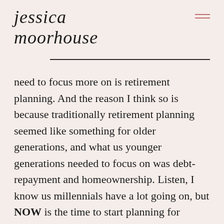jessica moorhouse
need to focus more on is retirement planning. And the reason I think so is because traditionally retirement planning seemed like something for older generations, and what us younger generations needed to focus on was debt-repayment and homeownership. Listen, I know us millennials have a lot going on, but NOW is the time to start planning for retirement, not when we're nearing it. That's why I have Ron Haik,